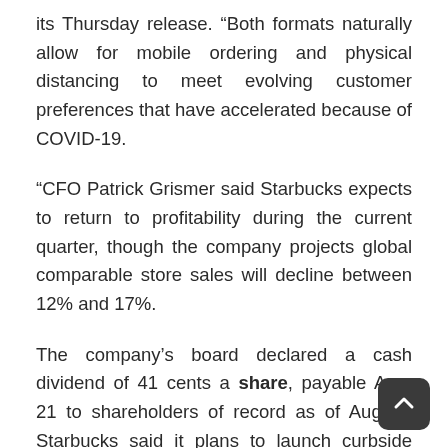its Thursday release. “Both formats naturally allow for mobile ordering and physical distancing to meet evolving customer preferences that have accelerated because of COVID-19.
“CFO Patrick Grismer said Starbucks expects to return to profitability during the current quarter, though the company projects global comparable store sales will decline between 12% and 17%.
The company’s board declared a cash dividend of 41 cents a share, payable Aug. 21 to shareholders of record as of Aug. 7. Starbucks said it plans to launch curbside pickup in several hundred existing locations in the near future and add over 50 Starbucks pickup locations in the next 12 to 18 months to meet “evolving customer preferences that have accelerated because